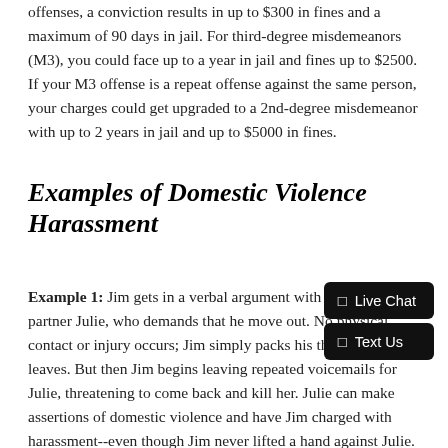offenses, a conviction results in up to $300 in fines and a maximum of 90 days in jail. For third-degree misdemeanors (M3), you could face up to a year in jail and fines up to $2500. If your M3 offense is a repeat offense against the same person, your charges could get upgraded to a 2nd-degree misdemeanor with up to 2 years in jail and up to $5000 in fines.
Examples of Domestic Violence Harassment
Example 1: Jim gets in a verbal argument with his live-in partner Julie, who demands that he move out. No physical contact or injury occurs; Jim simply packs his things and leaves. But then Jim begins leaving repeated voicemails for Julie, threatening to come back and kill her. Julie can make assertions of domestic violence and have Jim charged with harassment--even though Jim never lifted a hand against Julie.